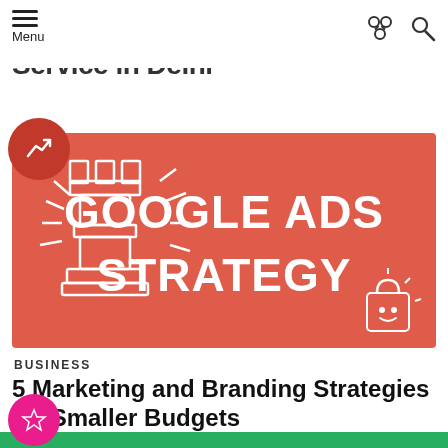Menu
Service in Delhi
[Figure (illustration): Red banner with chess rook icon on the left and bold white text reading GOOGLE ADS STRATEGY on the right, with a small shopping bag icon at bottom right. A red circle with a trending arrow icon overlays the top-left corner of the banner.]
BUSINESS
5 Marketing and Branding Strategies for Smaller Budgets